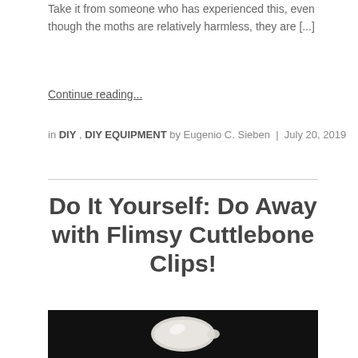Take it from someone who has experienced this, even though the moths are relatively harmless, they are [...]
Continue reading...
in DIY , DIY EQUIPMENT by Eugenio C. Sieben | July 20, 2019
Do It Yourself: Do Away with Flimsy Cuttlebone Clips!
[Figure (photo): Close-up photo of a cuttlebone on a dark/black background]